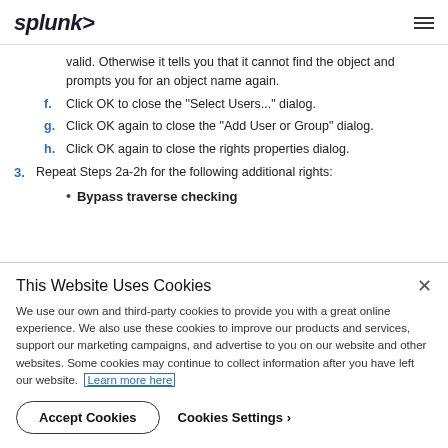splunk>
valid. Otherwise it tells you that it cannot find the object and prompts you for an object name again.
f. Click OK to close the "Select Users..." dialog.
g. Click OK again to close the "Add User or Group" dialog.
h. Click OK again to close the rights properties dialog.
3. Repeat Steps 2a-2h for the following additional rights:
Bypass traverse checking
This Website Uses Cookies
We use our own and third-party cookies to provide you with a great online experience. We also use these cookies to improve our products and services, support our marketing campaigns, and advertise to you on our website and other websites. Some cookies may continue to collect information after you have left our website. Learn more here
Accept Cookies   Cookies Settings ›